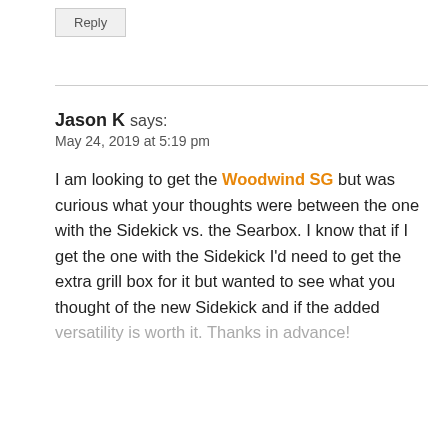Reply
Jason K says:
May 24, 2019 at 5:19 pm
I am looking to get the Woodwind SG but was curious what your thoughts were between the one with the Sidekick vs. the Searbox. I know that if I get the one with the Sidekick I'd need to get the extra grill box for it but wanted to see what you thought of the new Sidekick and if the added versatility is worth it. Thanks in advance!